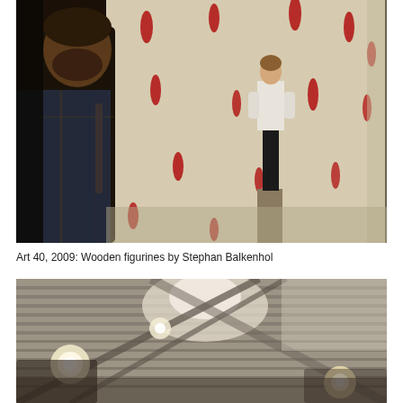[Figure (photo): A man with a beard in a plaid shirt views a wooden figurine sculpture of a boy in white shirt and black pants standing on a pedestal in a gallery. The white wall behind has red oval shapes scattered across it.]
Art 40, 2009: Wooden figurines by Stephan Balkenhol
[Figure (photo): Interior of a large exhibition hall showing the ceiling with industrial lighting rigs, bright spotlights, and structural beams visible from below.]